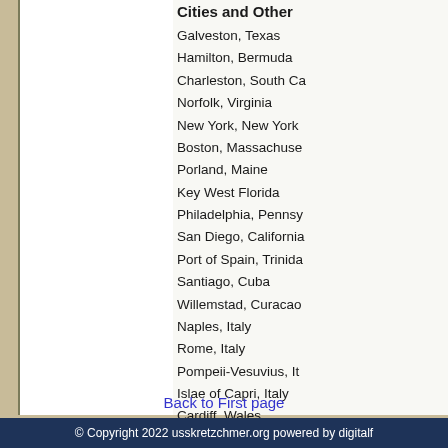Cities and Other
Galveston, Texas
Hamilton, Bermuda
Charleston, South Ca
Norfolk, Virginia
New York, New York
Boston, Massachuse
Porland, Maine
Key West Florida
Philadelphia, Pennsy
San Diego, Californ
Port of Spain, Trinda
Santiago, Cuba
Willemstad, Curacao
Naples, Italy
Rome, Italy
Pompeii-Vesuvius, It
Islae of Capri, Italy
Cardiff, Wales
Back to First page
© Copyright 2022 usskretzchmer.org powered by digitalf